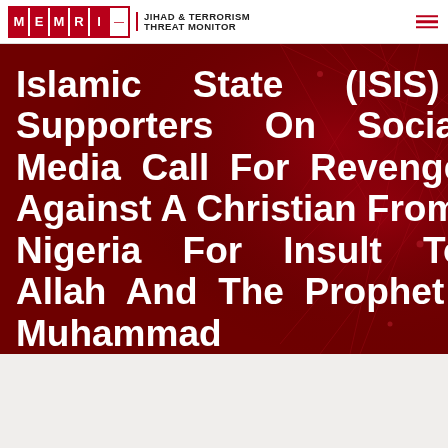MEMRI JIHAD & TERRORISM THREAT MONITOR
Islamic State (ISIS) Supporters On Social Media Call For Revenge Against A Christian From Nigeria For Insult To Allah And The Prophet Muhammad